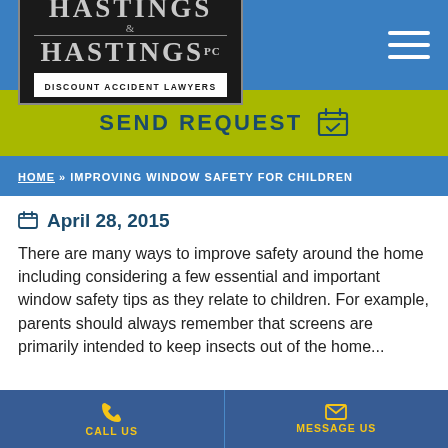[Figure (logo): Hastings & Hastings PC Discount Accident Lawyers logo — dark background with light serif text]
SEND REQUEST
HOME » IMPROVING WINDOW SAFETY FOR CHILDREN
April 28, 2015
There are many ways to improve safety around the home including considering a few essential and important window safety tips as they relate to children. For example, parents should always remember that screens are primarily intended to keep insects out of the home...